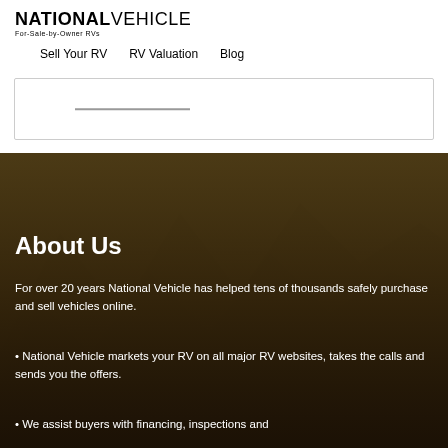NATIONAL VEHICLE For-Sale-by-Owner RVs
Sell Your RV   RV Valuation   Blog
[Figure (photo): Dark hero image with mountain rock formations in the background, overlaid with a dark brownish semi-transparent overlay. Contains About Us section text.]
About Us
For over 20 years National Vehicle has helped tens of thousands safely purchase and sell vehicles online.
• National Vehicle markets your RV on all major RV websites, takes the calls and sends you the offers.
• We assist buyers with financing, inspections and